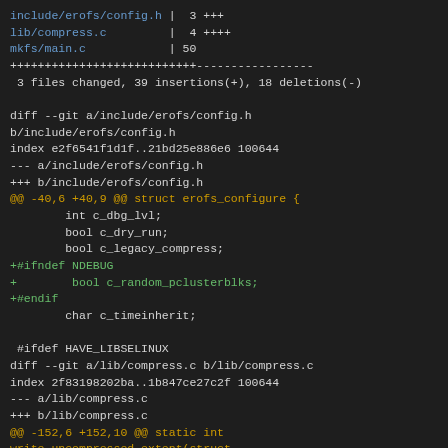Git diff output showing changes to include/erofs/config.h, lib/compress.c, mkfs/main.c with 3 files changed, 39 insertions(+), 18 deletions(-)